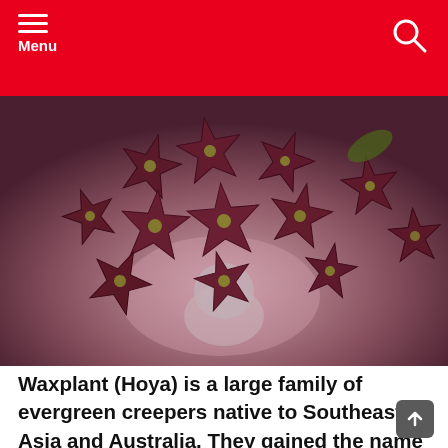Menu
[Figure (photo): Close-up macro photograph of Hoya (Waxplant) flowers — multiple dark reddish-purple star-shaped waxy flower buds clustered together, with small yellow-green centers, against a blurred pink and grey background.]
Waxplant (Hoya) is a large family of evergreen creepers native to Southeast Asia and Australia. They gained the name ?Waxplant? thanks to their flowers. The flowers always grow in bunches (called spurs), have five thick triangular petals that look as